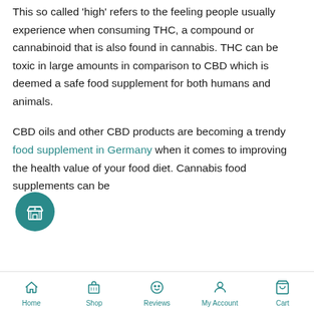This so called 'high' refers to the feeling people usually experience when consuming THC, a compound or cannabinoid that is also found in cannabis. THC can be toxic in large amounts in comparison to CBD which is deemed a safe food supplement for both humans and animals.
CBD oils and other CBD products are becoming a trendy food supplement in Germany when it comes to improving the health value of your food diet. Cannabis food supplements can be
[Figure (other): Floating circular teal button with a store/shop icon]
Home | Shop | Reviews | My Account | Cart